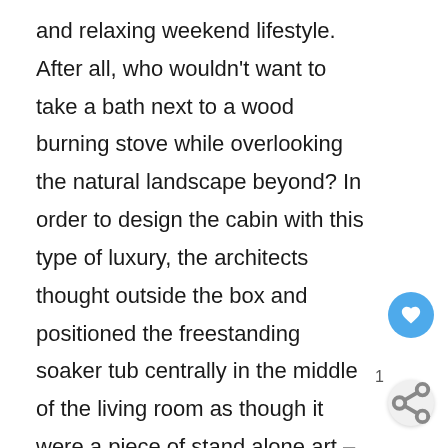and relaxing weekend lifestyle. After all, who wouldn't want to take a bath next to a wood burning stove while overlooking the natural landscape beyond? In order to design the cabin with this type of luxury, the architects thought outside the box and positioned the freestanding soaker tub centrally in the middle of the living room as though it were a piece of stand alone art – and since the tub is a beautiful shape with LED lights allowing it to glow from within, it is truly beautiful statement piece worthy of its promin position.